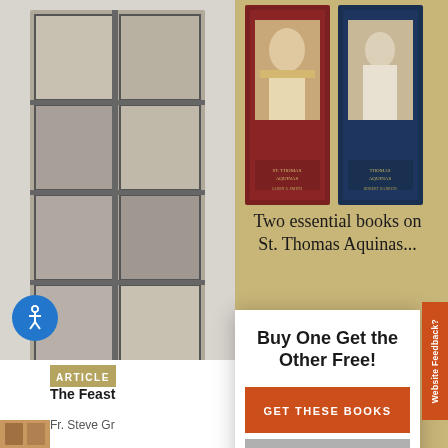[Figure (screenshot): Website screenshot showing a book advertisement overlay modal. Left side shows a partial article page with a stained glass window image, accessibility icon, article label tag, article title 'The Feast' and author 'Fr. Steve Gr'. Right side shows a book advertisement for two books on St. Thomas Aquinas. A modal popup overlays the lower portion with text 'Buy One Get the Other Free!' and two buttons: 'GET THESE BOOKS' (orange) and 'CLOSE' (gray). A vertical orange 'Website Feedback?' tab appears on the right edge.]